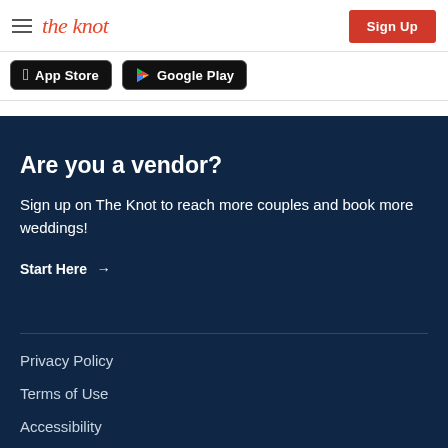the knot | Sign Up
App Store   Google Play
Are you a vendor?
Sign up on The Knot to reach more couples and book more weddings!
Start Here →
Privacy Policy
Terms of Use
Accessibility